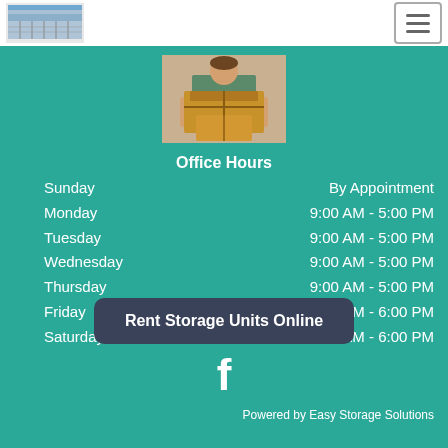[Figure (logo): Storage facility building logo in top left header]
[Figure (photo): Person holding moving cardboard boxes]
Office Hours
| Day | Hours |
| --- | --- |
| Sunday | By Appointment |
| Monday | 9:00 AM - 5:00 PM |
| Tuesday | 9:00 AM - 5:00 PM |
| Wednesday | 9:00 AM - 5:00 PM |
| Thursday | 9:00 AM - 5:00 PM |
| Friday | 9:00 AM - 6:00 PM |
| Saturday | 9:00 AM - 6:00 PM |
Rent Storage Units Online
[Figure (logo): Facebook icon/logo]
Powered by Easy Storage Solutions